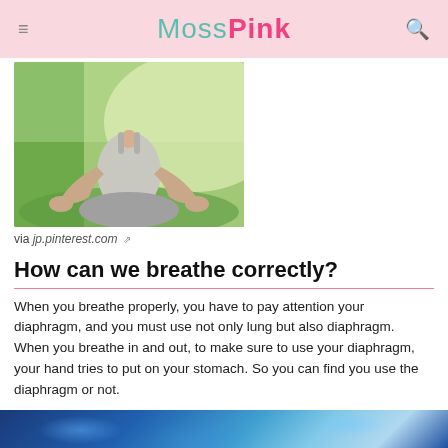MossPink
[Figure (photo): Woman sitting in lotus yoga meditation pose on grass outdoors, wearing a gray tank top, viewed from behind/side, green grass and bright natural light background]
via jp.pinterest.com ↗
How can we breathe correctly?
When you breathe properly, you have to pay attention your diaphragm, and you must use not only lung but also diaphragm.
When you breathe in and out, to make sure to use your diaphragm, your hand tries to put on your stomach. So you can find you use the diaphragm or not.
[Figure (photo): Close-up blue medical/anatomical image, partially visible at bottom edge of page]